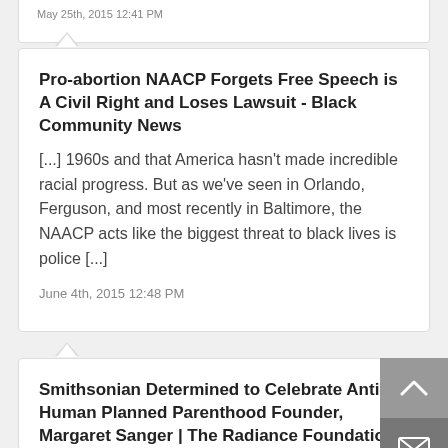May 25th, 2015 12:41 PM
Pro-abortion NAACP Forgets Free Speech is A Civil Right and Loses Lawsuit - Black Community News
[...] 1960s and that America hasn't made incredible racial progress. But as we've seen in Orlando, Ferguson, and most recently in Baltimore, the NAACP acts like the biggest threat to black lives is police [...]
June 4th, 2015 12:48 PM
Smithsonian Determined to Celebrate Anti-Human Planned Parenthood Founder, Margaret Sanger | The Radiance Foundation
[...] Nowhere on the NPG display does it mention that Sanger was the founder of Planned Parenthood, that she promoted abortion and...